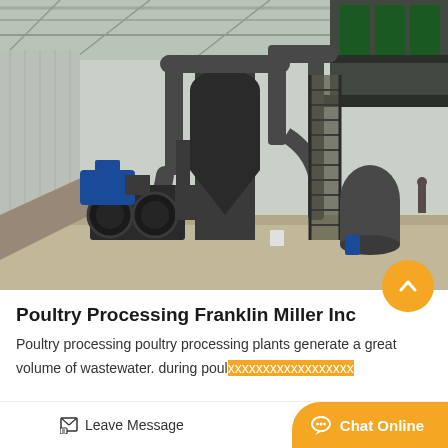[Figure (photo): Industrial poultry processing machinery with large dark-colored pipe systems, cyclones, fans with blue motor, metal staircases, and storage containers inside a warehouse/factory building with corrugated metal walls.]
Poultry Processing Franklin Miller Inc
Poultry processing poultry processing plants generate a great volume of wastewater. during poul...